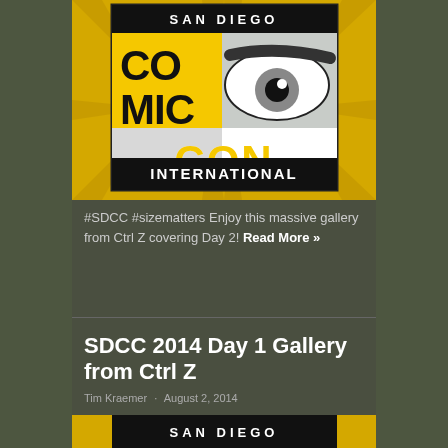[Figure (logo): San Diego Comic Con International logo with comic-style eye mascot on yellow starburst background]
#SDCC #sizematters Enjoy this massive gallery from Ctrl Z covering Day 2! Read More »
SDCC 2014 Day 1 Gallery from Ctrl Z
Tim Kraemer · August 2, 2014
[Figure (photo): Partial view of San Diego Comic Con logo at bottom of page]